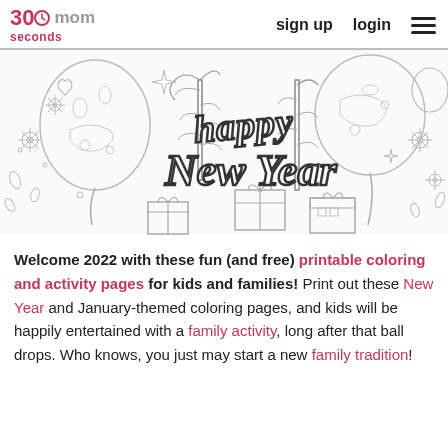30seconds mom | sign up | login
[Figure (illustration): A Happy New Year coloring page illustration featuring decorative balloons, gifts, flowers, and the cursive text 'happy New Year' outlined in black on a white background, suitable for coloring.]
Welcome 2022 with these fun (and free) printable coloring and activity pages for kids and families! Print out these New Year and January-themed coloring pages, and kids will be happily entertained with a family activity, long after that ball drops. Who knows, you just may start a new family tradition!